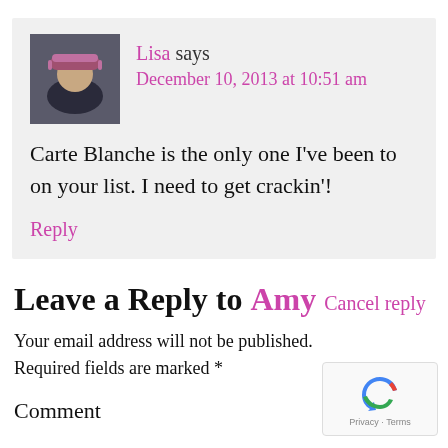[Figure (photo): Avatar photo of Lisa wearing a striped winter hat, outdoor setting]
Lisa says
December 10, 2013 at 10:51 am
Carte Blanche is the only one I've been to on your list. I need to get crackin'!
Reply
Leave a Reply to Amy Cancel reply
Your email address will not be published. Required fields are marked *
Comment
[Figure (logo): reCAPTCHA badge with Privacy and Terms text]